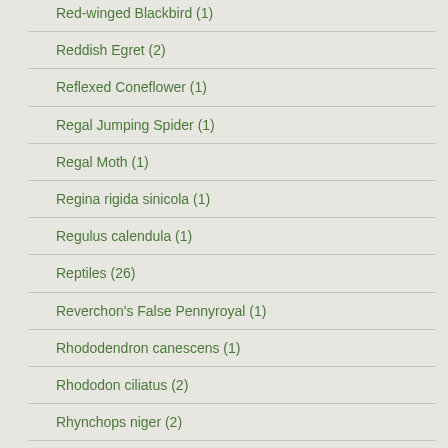Red-winged Blackbird (1)
Reddish Egret (2)
Reflexed Coneflower (1)
Regal Jumping Spider (1)
Regal Moth (1)
Regina rigida sinicola (1)
Regulus calendula (1)
Reptiles (26)
Reverchon's False Pennyroyal (1)
Rhododendron canescens (1)
Rhododon ciliatus (2)
Rhynchops niger (2)
Rhynchosia reniformis (1)
Rich Mountain Salamander (2)
Riddell's Spike-Moss (1)